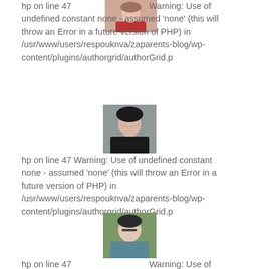[Figure (photo): Photo of a woman with red top, smiling, at top of page]
hp on line 47  Warning: Use of undefined constant none - assumed 'none' (this will throw an Error in a future version of PHP) in /usr/www/users/respouknva/zaparents-blog/wp-content/plugins/authorgrid/authorGrid.p
[Figure (photo): Photo of a woman wearing a hijab]
hp on line 47 Warning: Use of undefined constant none - assumed 'none' (this will throw an Error in a future version of PHP) in /usr/www/users/respouknva/zaparents-blog/wp-content/plugins/authorgrid/authorGrid.p
[Figure (photo): Photo of a woman with glasses and short dark hair]
hp on line 47  Warning: Use of undefined constant none - assumed 'none' (this will throw an Error in a future version of PHP) in /usr/www/users/respouknva/zaparents-blog/wp-content/plugins/authorgrid/authorGrid.p in a future version of PHP) in